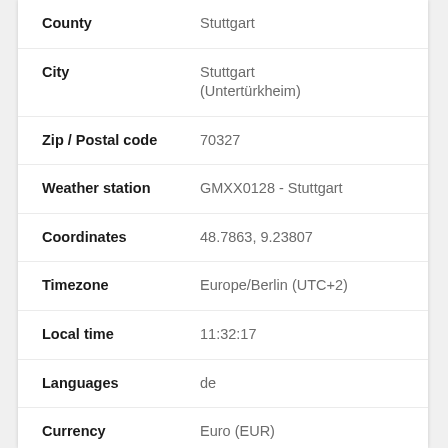County: Stuttgart
City: Stuttgart (Untertürkheim)
Zip / Postal code: 70327
Weather station: GMXX0128 - Stuttgart
Coordinates: 48.7863, 9.23807
Timezone: Europe/Berlin (UTC+2)
Local time: 11:32:17
Languages: de
Currency: Euro (EUR)